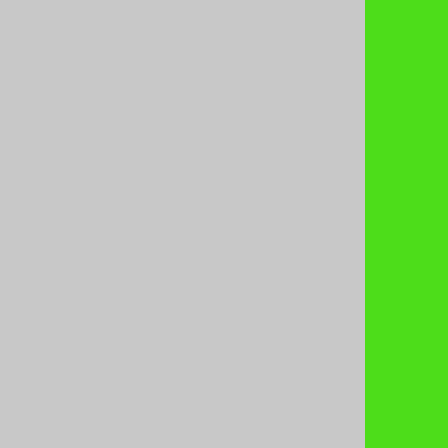[Figure (screenshot): Source code listing showing a partial C function named defrost, with gray left panel, green middle panel, and code visible on the right side. Code includes comments, #ifdef SHARE, node *defros, variable declarations (node *b, debug_mal calls, check_tree, if(!n) ret), conditional block with sub_node, n->node_, n->tree_, return n, switch(n-> with cases F_LO, F_IDB, F_TRA, b=mknew, if(b->ty]